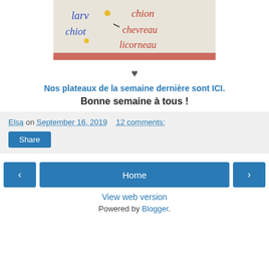[Figure (photo): Photo of embroidered or handwritten French words on fabric: larve, chiot, chevrou, licorneau]
♥
Nos plateaux de la semaine dernière sont ICI.
Bonne semaine à tous !
Elsa on September 16, 2019  12 comments:
Share
Home
View web version
Powered by Blogger.